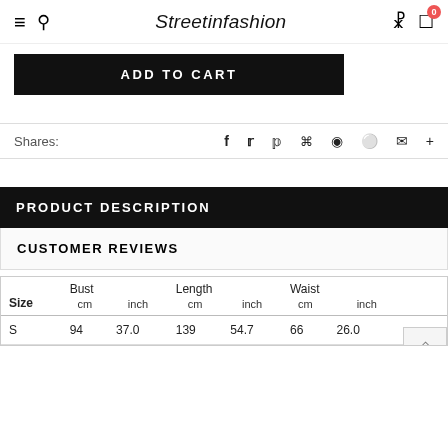Streetinfashion
ADD TO CART
Shares:
PRODUCT DESCRIPTION
CUSTOMER REVIEWS
| Size | Bust cm | Bust inch | Length cm | Length inch | Waist cm | Waist inch |
| --- | --- | --- | --- | --- | --- | --- |
| S | 94 | 37.0 | 139 | 54.7 | 66 | 26.0 |